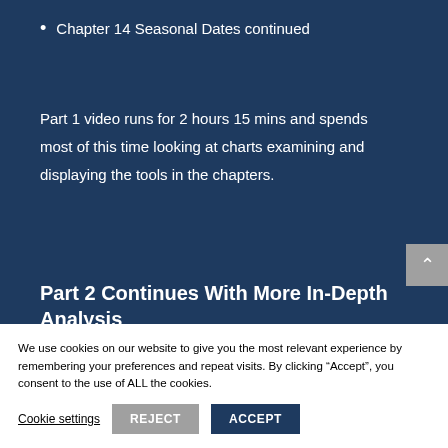Chapter 14 Seasonal Dates continued
Part 1 video runs for 2 hours 15 mins and spends most of this time looking at charts examining and displaying the tools in the chapters.
Part 2 Continues With More In-Depth Analysis
Chapter 15 Advanced Planetary Lines
We use cookies on our website to give you the most relevant experience by remembering your preferences and repeat visits. By clicking “Accept”, you consent to the use of ALL the cookies.